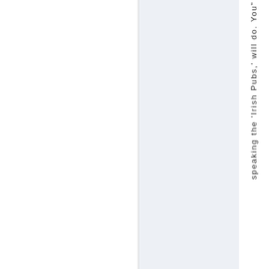speaking the 'Irish Pubs,' will do. You"